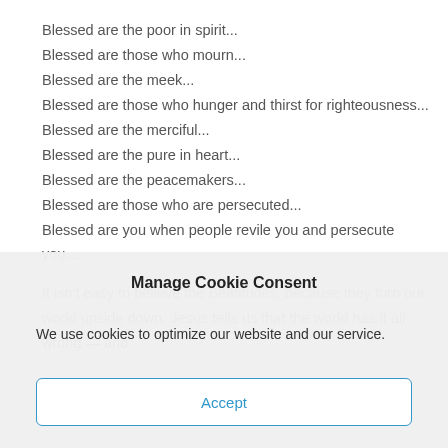Blessed are the poor in spirit...
Blessed are those who mourn...
Blessed are the meek...
Blessed are those who hunger and thirst for righteousness...
Blessed are the merciful...
Blessed are the pure in heart...
Blessed are the peacemakers...
Blessed are those who are persecuted...
Blessed are you when people revile you and persecute you....

It isn't easy to believe the Beatitudes, because they turn our world upside down. Jesus tells us that the world has it all wrong — and
Manage Cookie Consent
We use cookies to optimize our website and our service.
Accept